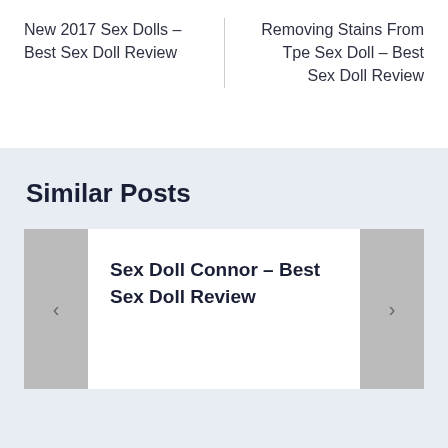New 2017 Sex Dolls – Best Sex Doll Review
Removing Stains From Tpe Sex Doll – Best Sex Doll Review
Similar Posts
Sex Doll Connor – Best Sex Doll Review